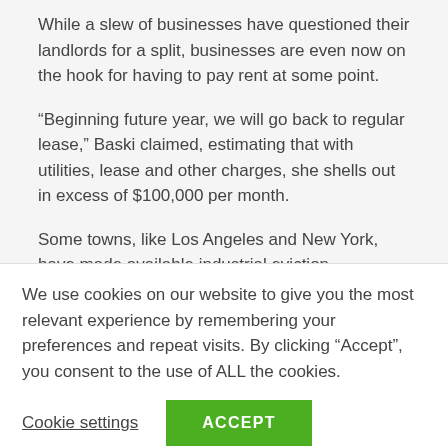While a slew of businesses have questioned their landlords for a split, businesses are even now on the hook for having to pay rent at some point.
“Beginning future year, we will go back to regular lease,” Baski claimed, estimating that with utilities, lease and other charges, she shells out in excess of $100,000 per month.
Some towns, like Los Angeles and New York, have made available industrial eviction protections to organizations. Even so, the requires are expanding much more acute
We use cookies on our website to give you the most relevant experience by remembering your preferences and repeat visits. By clicking “Accept”, you consent to the use of ALL the cookies.